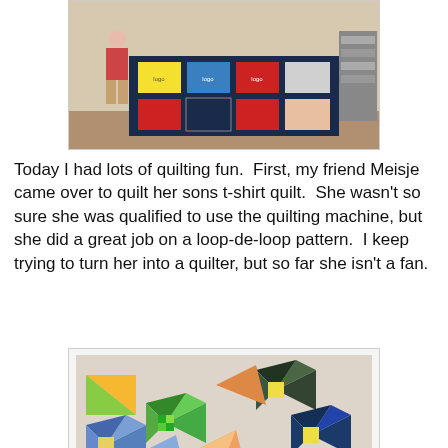[Figure (photo): Person standing beside a large t-shirt quilt laid out on a table in a craft/sewing room. The quilt has colorful square panels with various shirt designs on a dark border background.]
Today I had lots of quilting fun.  First, my friend Meisje came over to quilt her sons t-shirt quilt.  She wasn't so sure she was qualified to use the quilting machine, but she did a great job on a loop-de-loop pattern.  I keep trying to turn her into a quilter, but so far she isn't a fan.
[Figure (photo): Colorful quilt blocks laid out on a light surface, showing pinwheel and star patterns in blue, green, yellow, orange, and multi-colored print fabrics.]